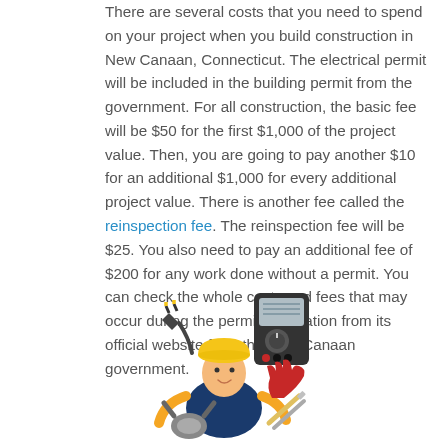There are several costs that you need to spend on your project when you build construction in New Canaan, Connecticut. The electrical permit will be included in the building permit from the government. For all construction, the basic fee will be $50 for the first $1,000 of the project value. Then, you are going to pay another $10 for an additional $1,000 for every additional project value. There is another fee called the reinspection fee. The reinspection fee will be $25. You also need to pay an additional fee of $200 for any work done without a permit. You can check the whole costs and fees that may occur during the permit application from its official website from the New Canaan government.
[Figure (illustration): Illustration of an electrician/construction worker wearing a yellow hard hat, with electrical plug, multimeter/tester device, red glove, pliers and screwdrivers around them.]